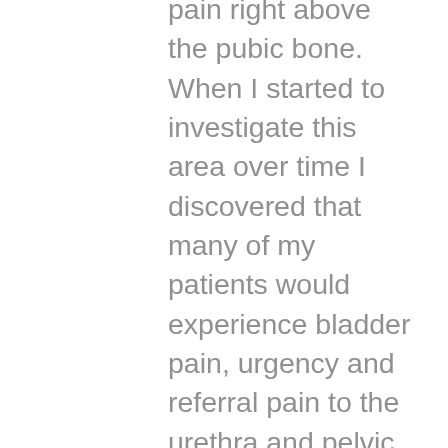pain right above the pubic bone. When I started to investigate this area over time I discovered that many of my patients would experience bladder pain, urgency and referral pain to the urethra and pelvic floor muscles. The bladder and more of the main pelvic floor muscles the PC muscle (Pubcoccygeus) live underneath the pubic bone and it makes sense that if there is a dysfunction in the bladder or the pelvic floor muscles that the top of the pubic bone and the lower abdominal area will be painful and